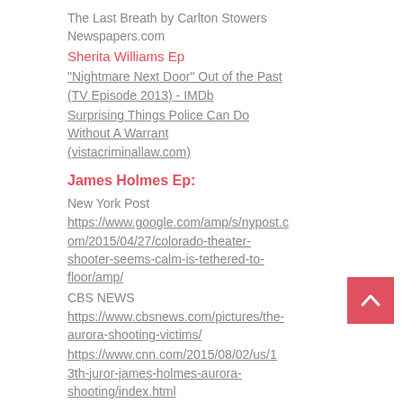The Last Breath by Carlton Stowers
Newspapers.com
Sherita Williams Ep
"Nightmare Next Door" Out of the Past (TV Episode 2013) - IMDb
Surprising Things Police Can Do Without A Warrant (vistacriminallaw.com)
James Holmes Ep:
New York Post
https://www.google.com/amp/s/nypost.com/2015/04/27/colorado-theater-shooter-seems-calm-is-tethered-to-floor/amp/
CBS NEWS
https://www.cbsnews.com/pictures/the-aurora-shooting-victims/
https://www.cnn.com/2015/08/02/us/13th-juror-james-holmes-aurora-shooting/index.html
https://www.nytimes.com/2012/08/27/